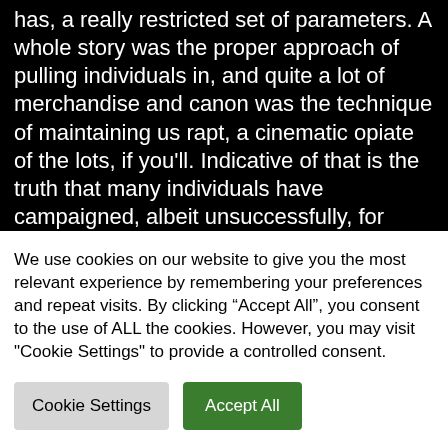has, a really restricted set of parameters. A whole story was the proper approach of pulling individuals in, and quite a lot of merchandise and canon was the technique of maintaining us rapt, a cinematic opiate of the lots, if you'll. Indicative of that is the truth that many individuals have campaigned, albeit unsuccessfully, for Jediism to turn out to be a recognised faith.

Let's be clear. With out the unique Star Wars trilogy, when it comes to bigger than life movie franchises,
We use cookies on our website to give you the most relevant experience by remembering your preferences and repeat visits. By clicking "Accept All", you consent to the use of ALL the cookies. However, you may visit "Cookie Settings" to provide a controlled consent.